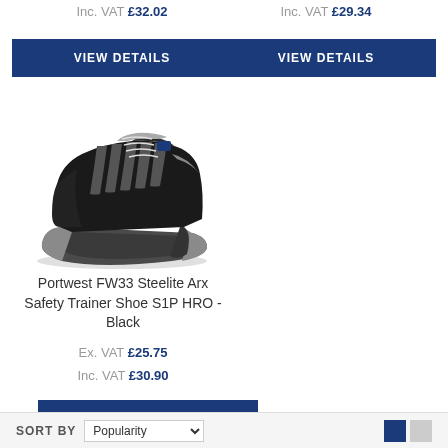Inc. VAT £32.02
Inc. VAT £29.34
VIEW DETAILS
VIEW DETAILS
[Figure (photo): Portwest FW33 Steelite Arx Safety Trainer Shoe S1P HRO in black, a low-cut sneaker style safety shoe with laces, black leather upper and grey sole]
Portwest FW33 Steelite Arx Safety Trainer Shoe S1P HRO - Black
Ex. VAT £25.75
Inc. VAT £30.90
VIEW DETAILS
SORT BY